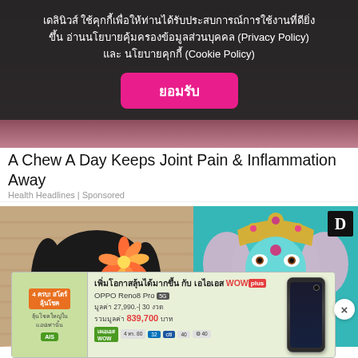[Figure (screenshot): Website background with dark reddish header and Daily News logo partially visible]
เดลินิวส์ ใช้คุกกี้เพื่อให้ท่านได้รับประสบการณ์การใช้งานที่ดียิ่งขึ้น อ่านนโยบายคุ้มครองข้อมูลส่วนบุคคล (Privacy Policy) และ นโยบายคุกกี้ (Cookie Policy)
ยอมรับ
A Chew A Day Keeps Joint Pain & Inflammation Away
Health Headlines | Sponsored
[Figure (photo): Two images side by side: left shows a Thai woman with a flower in her hair, right shows a colorful Ganesha statue in teal/turquoise with a D logo overlay]
[Figure (screenshot): Advertisement banner for AIS WOW+ featuring OPPO Reno8 Pro 5G at price 27,990 baht, 30 months installment, total value 839,700 baht, with green background and phone image]